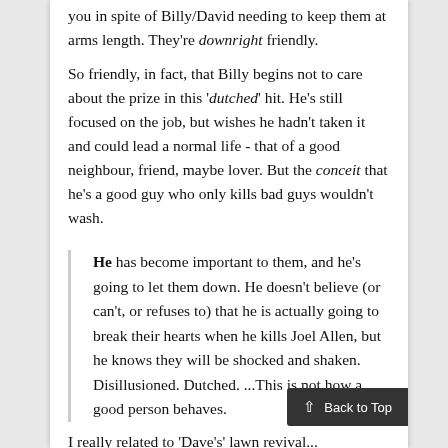you in spite of Billy/David needing to keep them at arms length. They're downright friendly.
So friendly, in fact, that Billy begins not to care about the prize in this 'dutched' hit. He's still focused on the job, but wishes he hadn't taken it and could lead a normal life - that of a good neighbour, friend, maybe lover. But the conceit that he's a good guy who only kills bad guys wouldn't wash.
He has become important to them, and he's going to let them down. He doesn't believe (or can't, or refuses to) that he is actually going to break their hearts when he kills Joel Allen, but he knows they will be shocked and shaken. Disillusioned. Dutched. ...This is not how a good person behaves.
I really related to 'Dave's' lawn revival...